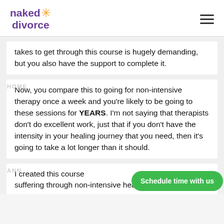[Figure (logo): Naked Divorce logo with purple text and orange star, plus hamburger menu icon]
takes to get through this course is hugely demanding, but you also have the support to complete it.
Now, you compare this to going for non-intensive therapy once a week and you're likely to be going to these sessions for YEARS. I'm not saying that therapists don't do excellent work, just that if you don't have the intensity in your healing journey that you need, then it's going to take a lot longer than it should.
I created this course suffering through non-intensive healing for